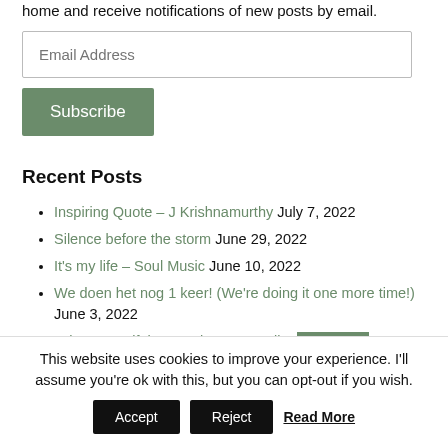home and receive notifications of new posts by email.
Email Address
Subscribe
Recent Posts
Inspiring Quote – J Krishnamurthy July 7, 2022
Silence before the storm June 29, 2022
It's my life – Soul Music June 10, 2022
We doen het nog 1 keer! (We're doing it one more time!) June 3, 2022
Other Beautiful Post – by Casey Kiln
This website uses cookies to improve your experience. I'll assume you're ok with this, but you can opt-out if you wish. Accept Reject Read More